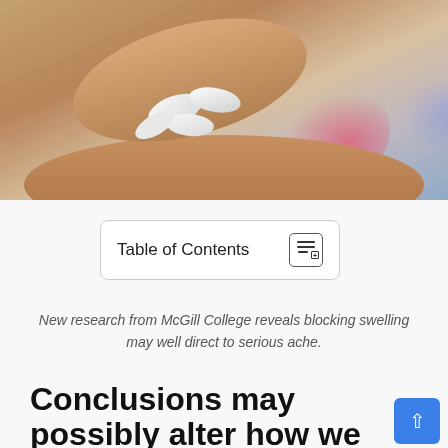[Figure (photo): Close-up photo of a hand holding white pills/capsules with another hand reaching toward them, blurred colorful background]
Table of Contents
New research from McGill College reveals blocking swelling may well direct to serious ache.
Conclusions may possibly alter how we